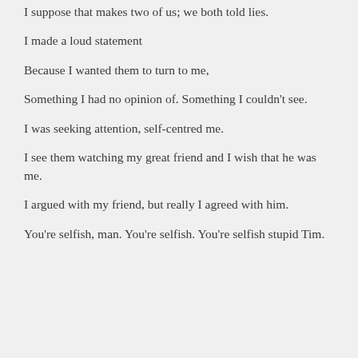I suppose that makes two of us; we both told lies.
I made a loud statement
Because I wanted them to turn to me,
Something I had no opinion of. Something I couldn't see.
I was seeking attention, self-centred me.
I see them watching my great friend and I wish that he was me.
I argued with my friend, but really I agreed with him.
You're selfish, man. You're selfish. You're selfish stupid Tim.